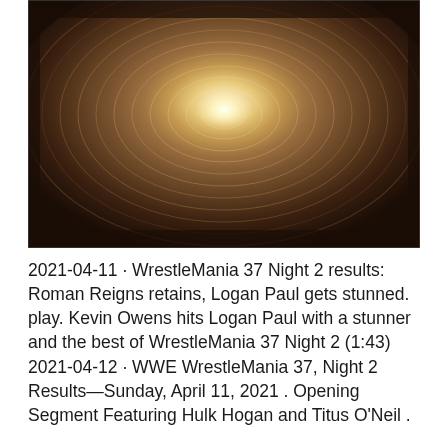[Figure (photo): Photo looking through a cylindrical tunnel with concentric circular ridges. Center glows bright white/warm light fading to dark brown/black edges, creating a vortex tunnel effect.]
2021-04-11 · WrestleMania 37 Night 2 results: Roman Reigns retains, Logan Paul gets stunned. play. Kevin Owens hits Logan Paul with a stunner and the best of WrestleMania 37 Night 2 (1:43) 2021-04-12 · WWE WrestleMania 37, Night 2 Results—Sunday, April 11, 2021 . Opening Segment Featuring Hulk Hogan and Titus O'Neil .